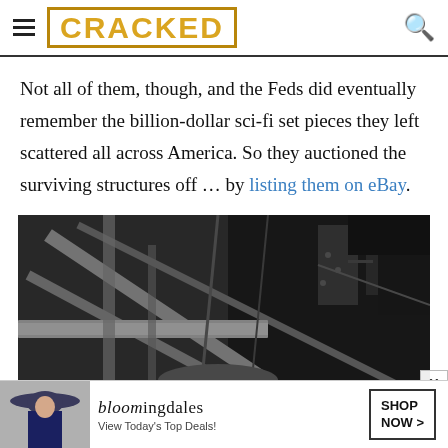CRACKED
Not all of them, though, and the Feds did eventually remember the billion-dollar sci-fi set pieces they left scattered all across America. So they auctioned the surviving structures off … by listing them on eBay.
[Figure (photo): Black and white photograph showing industrial/mechanical interior structure with metal beams, pipes, and machinery — appears to be inside a large industrial or aerospace facility]
[Figure (photo): Bloomingdale's advertisement banner showing a woman in a wide-brim hat with text 'bloomingdales View Today's Top Deals!' and a 'SHOP NOW >' button]